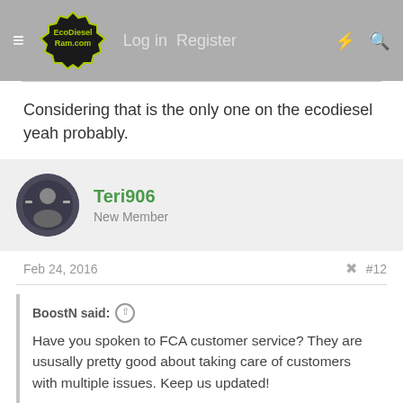EcoDieselRam.com — Log in  Register
Considering that is the only one on the ecodiesel yeah probably.
Teri906
New Member
Feb 24, 2016  #12
BoostN said:
Have you spoken to FCA customer service? They are ususally pretty good about taking care of customers with multiple issues. Keep us updated!